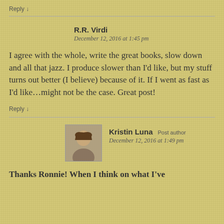Reply ↓
R.R. Virdi
December 12, 2016 at 1:45 pm
I agree with the whole, write the great books, slow down and all that jazz. I produce slower than I'd like, but my stuff turns out better (I believe) because of it. If I went as fast as I'd like…might not be the case. Great post!
Reply ↓
[Figure (photo): Avatar/profile photo of Kristin Luna, a young woman with brown hair]
Kristin Luna Post author
December 12, 2016 at 1:49 pm
Thanks Ronnie! When I think on what I've